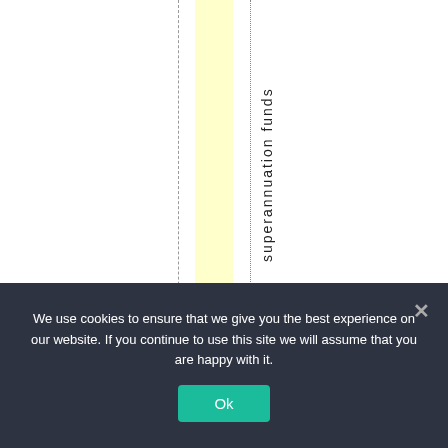[Figure (other): Table fragment showing vertical rotated text reading 'superannuation funds' in a column with a yellow highlighted background column, dashed and dotted vertical lines on a white background.]
We use cookies to ensure that we give you the best experience on our website. If you continue to use this site we will assume that you are happy with it.